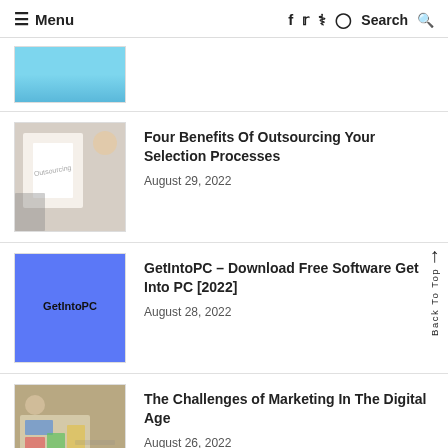☰ Menu   f  t  p  ◯  Search 🔍
[Figure (photo): Partial thumbnail of a blue image, cropped at top of page]
Four Benefits Of Outsourcing Your Selection Processes
August 29, 2022
[Figure (photo): Thumbnail showing a notebook with 'Outsourcing' written on it, with a calculator and coffee cup nearby]
GetIntoPC - Download Free Software Get Into PC [2022]
August 28, 2022
[Figure (illustration): Blue/purple square thumbnail with 'GetIntoPC' text in bold]
The Challenges of Marketing In The Digital Age
August 26, 2022
[Figure (photo): Thumbnail showing marketing charts and graphs on a desk, partial view]